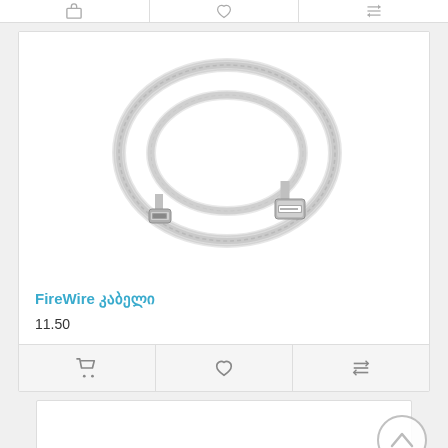[Figure (other): Top action bar with cart, heart, and compare icons (partially visible at top of page)]
[Figure (photo): Product photo of a transparent FireWire/USB cable coiled in a circle with mini-USB connector on left and standard USB-A connector on right]
FireWire კაბელი
11.50
[Figure (other): Product card action bar with shopping cart icon, heart/wishlist icon, and compare icon]
[Figure (other): Scroll-to-top circular button with upward chevron arrow, and beginning of another product card below]